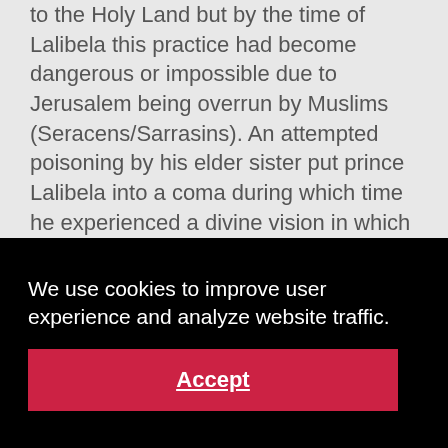to the Holy Land but by the time of Lalibela this practice had become dangerous or impossible due to Jerusalem being overrun by Muslims (Seracens/Sarrasins). An attempted poisoning by his elder sister put prince Lalibela into a coma during which time he experienced a divine vision in which God reportedly took him to Heaven and commanded him to construct a place of
[Figure (screenshot): Cookie consent banner overlay with black background, white text reading 'We use cookies to improve user experience and analyze website traffic.' and a red Accept button.]
His angels by night to do the work which